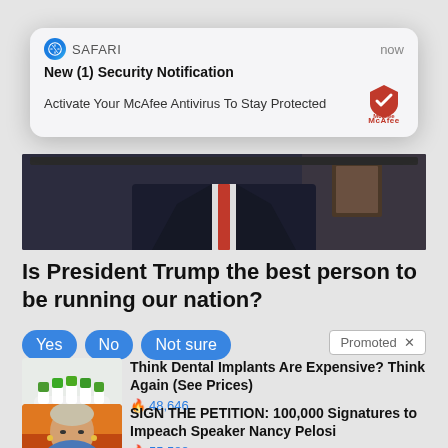[Figure (screenshot): Safari browser push notification popup showing McAfee security notification: 'New (1) Security Notification - Activate Your McAfee Antivirus To Stay Protected']
[Figure (photo): Partial photo of a person in a dark suit with a red tie, cropped at chest level]
Is President Trump the best person to be running our nation?
Yes | No | Not sure
Promoted X
[Figure (photo): Dental implant model with green caps on white teeth mold]
Think Dental Implants Are Expensive? Think Again (See Prices)
🔥 48,646
[Figure (photo): Photo of Nancy Pelosi against orange background]
SIGN THE PETITION: 100,000 Signatures to Impeach Speaker Nancy Pelosi
🔥 55,588